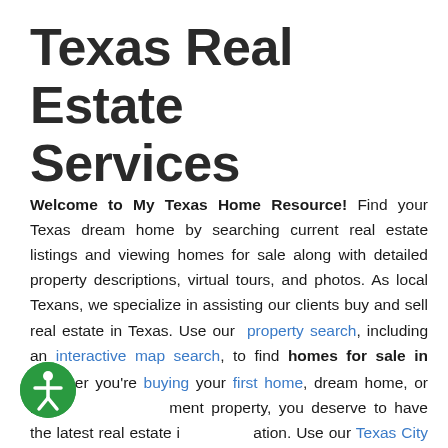Texas Real Estate Services
Welcome to My Texas Home Resource! Find your Texas dream home by searching current real estate listings and viewing homes for sale along with detailed property descriptions, virtual tours, and photos. As local Texans, we specialize in assisting our clients buy and sell real estate in Texas. Use our property search, including an interactive map search, to find homes for sale in Texas.
Whether you're buying your first home, dream home, or investment property, you deserve to have the latest real estate information. Use our Texas City Guide to browse Texas cities and towns to help you in your search for Texas real estate
[Figure (illustration): Green circular accessibility icon with a person figure in white]